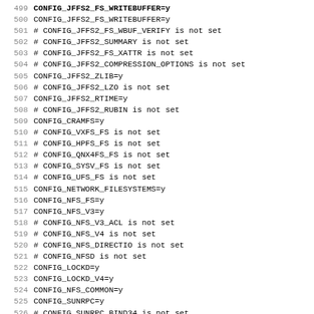499 CONFIG_JFFS2_FS_WRITEBUFFER=y (partial, bold at top)
500 CONFIG_JFFS2_FS_WRITEBUFFER=y
501 # CONFIG_JFFS2_FS_WBUF_VERIFY is not set
502 # CONFIG_JFFS2_SUMMARY is not set
503 # CONFIG_JFFS2_FS_XATTR is not set
504 # CONFIG_JFFS2_COMPRESSION_OPTIONS is not set
505 CONFIG_JFFS2_ZLIB=y
506 # CONFIG_JFFS2_LZO is not set
507 CONFIG_JFFS2_RTIME=y
508 # CONFIG_JFFS2_RUBIN is not set
509 CONFIG_CRAMFS=y
510 # CONFIG_VXFS_FS is not set
511 # CONFIG_HPFS_FS is not set
512 # CONFIG_QNX4FS_FS is not set
513 # CONFIG_SYSV_FS is not set
514 # CONFIG_UFS_FS is not set
515 CONFIG_NETWORK_FILESYSTEMS=y
516 CONFIG_NFS_FS=y
517 CONFIG_NFS_V3=y
518 # CONFIG_NFS_V3_ACL is not set
519 # CONFIG_NFS_V4 is not set
520 # CONFIG_NFS_DIRECTIO is not set
521 # CONFIG_NFSD is not set
522 CONFIG_LOCKD=y
523 CONFIG_LOCKD_V4=y
524 CONFIG_NFS_COMMON=y
525 CONFIG_SUNRPC=y
526 # CONFIG_SUNRPC_BIND34 is not set
527 # CONFIG_RPCSEC_GSS_KRB5 is not set
528 # CONFIG_RPCSEC_GSS_SPKM3 is not set
529 # CONFIG_SMB_FS is not set
530 # CONFIG_CIFS is not set
531 # CONFIG_NCP_FS is not set